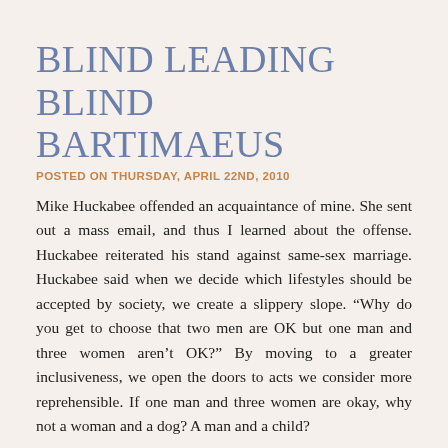BLIND LEADING BLIND BARTIMAEUS
POSTED ON THURSDAY, APRIL 22ND, 2010
Mike Huckabee offended an acquaintance of mine. She sent out a mass email, and thus I learned about the offense. Huckabee reiterated his stand against same-sex marriage. Huckabee said when we decide which lifestyles should be accepted by society, we create a slippery slope. “Why do you get to choose that two men are OK but one man and three women aren’t OK?” By moving to a greater inclusiveness, we open the doors to acts we consider more reprehensible. If one man and three women are okay, why not a woman and a dog? A man and a child?
My two examples repulse nearly everyone right now, just as homosexuality, and polygamy, once repulsed our